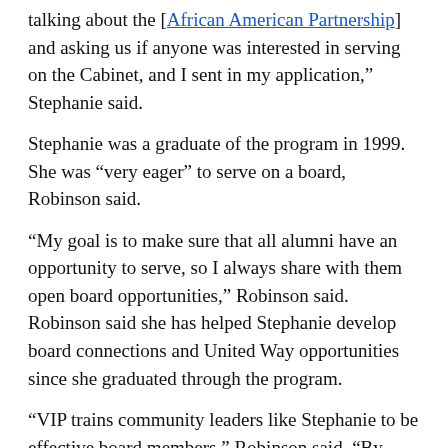talking about the [African American Partnership] and asking us if anyone was interested in serving on the Cabinet, and I sent in my application," Stephanie said.
Stephanie was a graduate of the program in 1999. She was “very eager” to serve on a board, Robinson said.
“My goal is to make sure that all alumni have an opportunity to serve, so I always share with them open board opportunities,” Robinson said.
Robinson said she has helped Stephanie develop board connections and United Way opportunities since she graduated through the program.
“VIP trains community leaders like Stephanie to be effective board members,” Robinson said. “By doing so, community organizations become stronger and more effective.”
Stephanie was selected to serve on the AAP Cabinet. She has served as the membership committee chair and